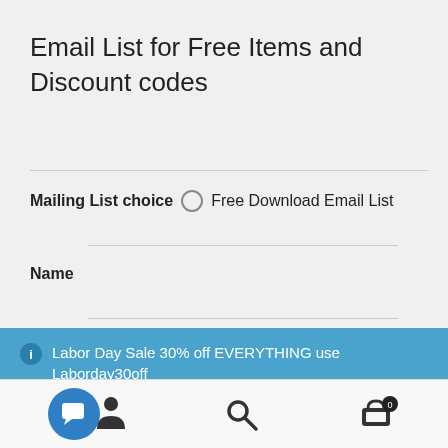Email List for Free Items and Discount codes
Mailing List choice ○ Free Download Email List
Name
ℹ Labor Day Sale 30% off EVERYTHING use Laborday30off
Dismiss